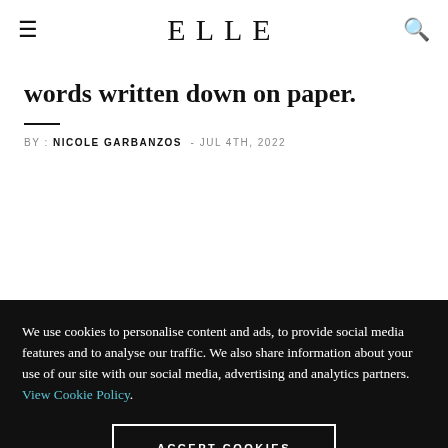ELLE
words written down on paper.
BY : NICOLE GARBANZOS - JUL 4TH, 2022
We use cookies to personalise content and ads, to provide social media features and to analyse our traffic. We also share information about your use of our site with our social media, advertising and analytics partners. View Cookie Policy.
ACCEPT COOKIES